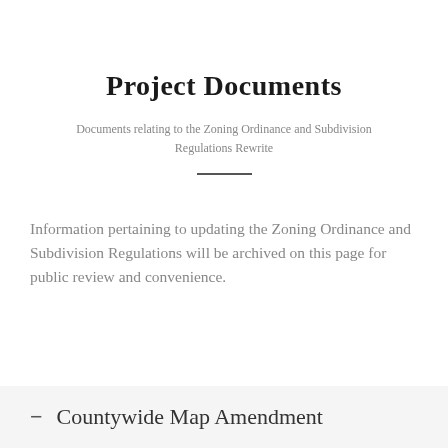Project Documents
Documents relating to the Zoning Ordinance and Subdivision Regulations Rewrite
Information pertaining to updating the Zoning Ordinance and Subdivision Regulations will be archived on this page for public review and convenience.
– Countywide Map Amendment